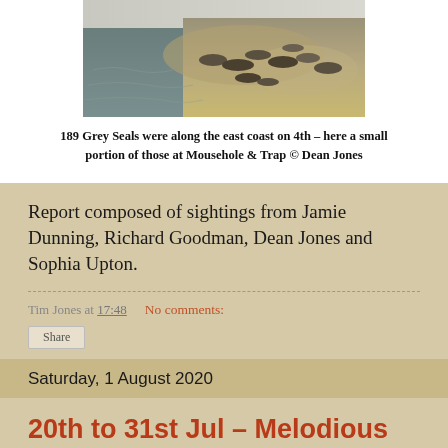[Figure (photo): Photo of grey seals resting on a rocky coastline with water visible]
189 Grey Seals were along the east coast on 4th – here a small portion of those at Mousehole & Trap © Dean Jones
Report composed of sightings from Jamie Dunning, Richard Goodman, Dean Jones and Sophia Upton.
Tim Jones at 17:48    No comments:
Share
Saturday, 1 August 2020
20th to 31st Jul – Melodious Warbler and Thresher Shark top the bill